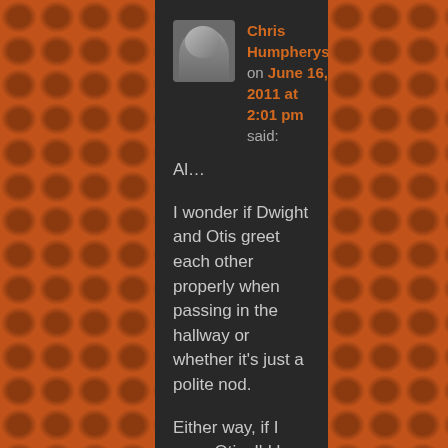Chris Humpherys on June 16, 2011 at 2:01 pm said: Al… I wonder if Dwight and Otis greet each other properly when passing in the hallway or whether it's just a polite nod. Either way, if I were Otis, I'd be kissing the big man's ass to get him to stay. As you recall, I was vehemently opposed to that trade AND DIDN'T EVEN BRING UP THE SALARY CAP IMPLICATIONS!